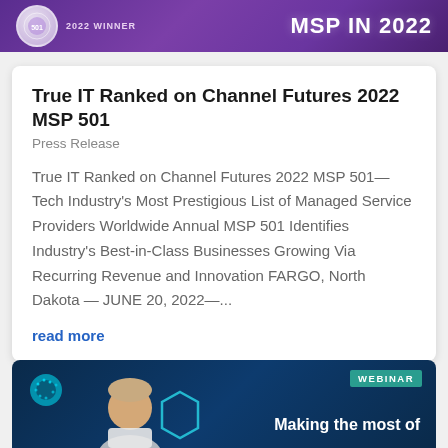[Figure (illustration): Purple gradient banner with '2022 WINNER' badge/logo on left and 'MSP IN 2022' bold white text on right]
True IT Ranked on Channel Futures 2022 MSP 501
Press Release
True IT Ranked on Channel Futures 2022 MSP 501—Tech Industry's Most Prestigious List of Managed Service Providers Worldwide Annual MSP 501 Identifies Industry's Best-in-Class Businesses Growing Via Recurring Revenue and Innovation FARGO, North Dakota — JUNE 20, 2022—...
read more
[Figure (illustration): Dark navy blue webinar banner with teal dot pattern circle on left, a person's head/shoulders, teal hexagon shape, 'WEBINAR' label in teal box top right, and 'Making the most of' white text on right]